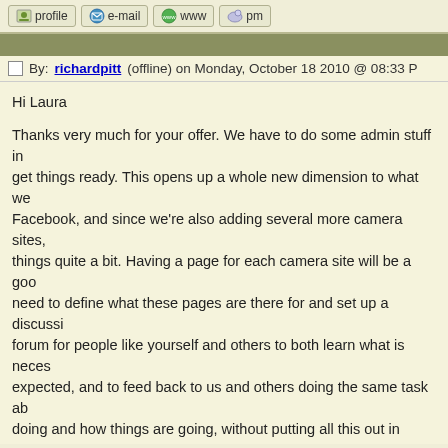profile  e-mail  www  pm
By: richardpitt (offline) on Monday, October 18 2010 @ 08:33 PM
Hi Laura

Thanks very much for your offer. We have to do some admin stuff in get things ready. This opens up a whole new dimension to what we Facebook, and since we're also adding several more camera sites, things quite a bit. Having a page for each camera site will be a good need to define what these pages are there for and set up a discussi forum for people like yourself and others to both learn what is neces expected, and to feed back to us and others doing the same task ab doing and how things are going, without putting all this out in public in our admin area and volunteers will be given access to it along wi volunteer area that already exists.

If you don't hear from someone (myself, JudyB, or one of the other couple of days, please rattle our perches and remind us

I"m out tomorrow doing the initial hookup of the new Port Moody ea for example, and Ken is working on the Delta2 cameras - so we're m around

The...